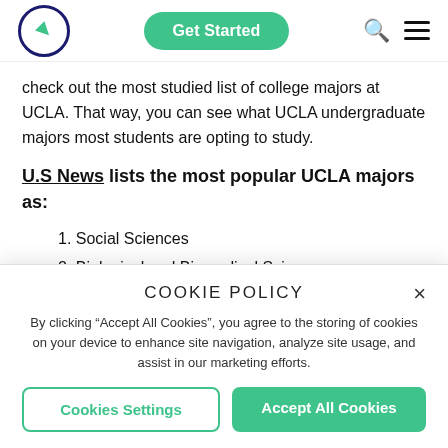Get Started [navigation bar with logo, Get Started button, search and menu icons]
check out the most studied list of college majors at UCLA. That way, you can see what UCLA undergraduate majors most students are opting to study.
U.S News lists the most popular UCLA majors as:
1. Social Sciences
2. Biological and Biomedical Sciences
COOKIE POLICY
By clicking “Accept All Cookies”, you agree to the storing of cookies on your device to enhance site navigation, analyze site usage, and assist in our marketing efforts.
Cookies Settings | Accept All Cookies